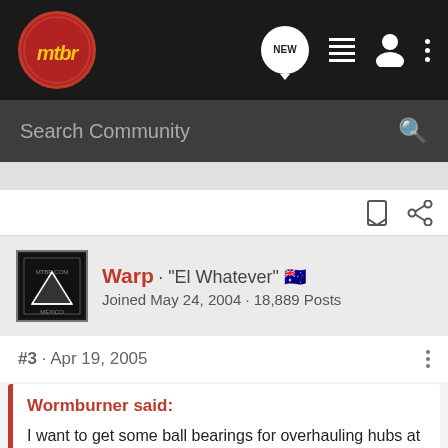mtbr
Search Community
Warp · "El Whatever" 🇦🇺
Joined May 24, 2004 · 18,889 Posts
#3 · Apr 19, 2005
Wormburner said:
I want to get some ball bearings for overhauling hubs at home, and I'm looking for some advice. In the past, I've used bearing from my local bike shop, but I'm wondering if there are bearings that are of a specific grade or quality for bikes. If I buy bearings in bulk from my local bike shop, are they any different than those that I might find at a local hardware store? For that matter, are there different grades of